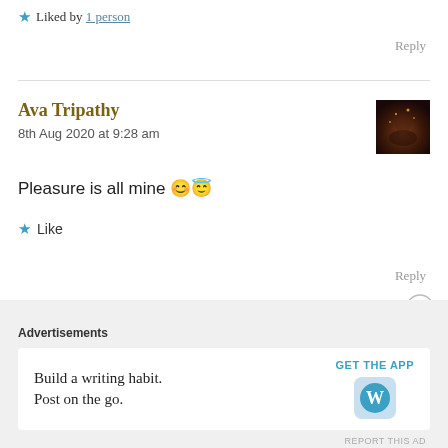★ Liked by 1 person
Reply
Ava Tripathy
8th Aug 2020 at 9:28 am
Pleasure is all mine 😊😇
★ Like
Reply
Advertisements
Build a writing habit. Post on the go.
GET THE APP